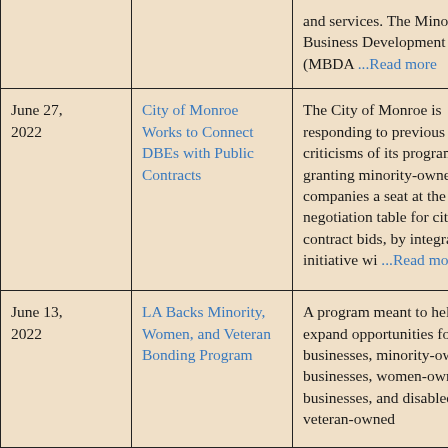| Date | Title | Description |
| --- | --- | --- |
|  |  | and services. The Minority Business Development Agency (MBDA …Read more |
| June 27, 2022 | City of Monroe Works to Connect DBEs with Public Contracts | The City of Monroe is responding to previous criticisms of its program for granting minority-owned companies a seat at the negotiation table for city contract bids, by integrating its initiative wi …Read more |
| June 13, 2022 | LA Backs Minority, Women, and Veteran Bonding Program | A program meant to help expand opportunities for small businesses, minority-owned businesses, women-owned businesses, and disabled veteran-owned |